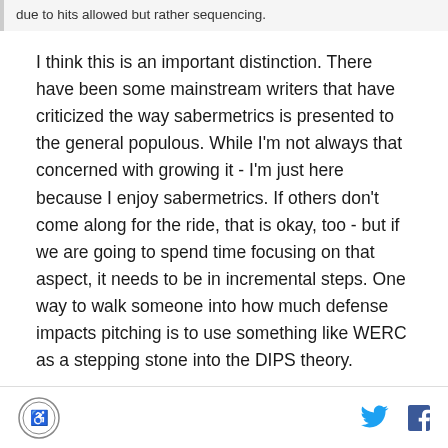due to hits allowed but rather sequencing.
I think this is an important distinction. There have been some mainstream writers that have criticized the way sabermetrics is presented to the general populous. While I'm not always that concerned with growing it - I'm just here because I enjoy sabermetrics. If others don't come along for the ride, that is okay, too - but if we are going to spend time focusing on that aspect, it needs to be in incremental steps. One way to walk someone into how much defense impacts pitching is to use something like WERC as a stepping stone into the DIPS theory.
Footer with logo and social icons